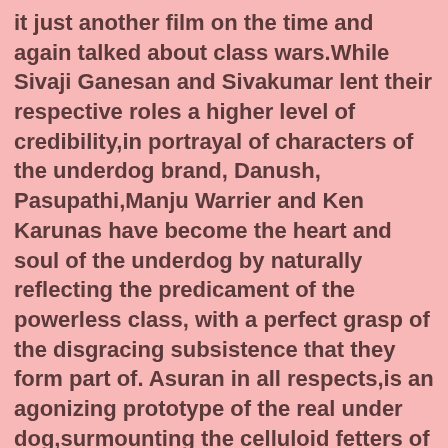it just another film on the time and again talked about class wars.While Sivaji Ganesan and Sivakumar lent their respective roles a higher level of credibility,in portrayal of characters of the underdog brand, Danush, Pasupathi,Manju Warrier and Ken Karunas have become the heart and soul of the underdog by naturally reflecting the predicament of the powerless class, with a perfect grasp of the disgracing subsistence that they form part of. Asuran in all respects,is an agonizing prototype of the real under dog,surmounting the celluloid fetters of character formulation and thematic interpretation.
   Quoting the famous English poet John Keats differently,on seeing Asuran,"one's heart would ache and a drowsy numbness would pain,as if hemlock one has consumed"This is because life's most tormenting moments of a section of humanity,are piercingly witnessed on the big screen, causing indescribable heaviness,that is rarely experienced through the celluloid mode,during these times of tabloid existence.
===========================